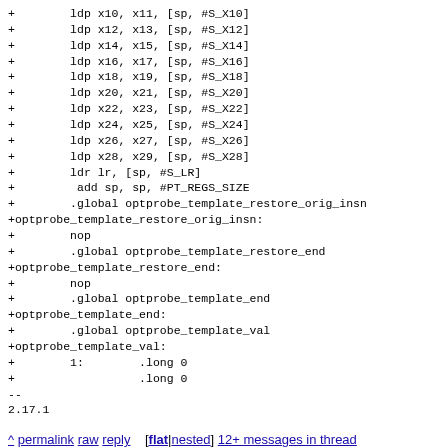+        ldp x10, x11, [sp, #S_X10]
+        ldp x12, x13, [sp, #S_X12]
+        ldp x14, x15, [sp, #S_X14]
+        ldp x16, x17, [sp, #S_X16]
+        ldp x18, x19, [sp, #S_X18]
+        ldp x20, x21, [sp, #S_X20]
+        ldp x22, x23, [sp, #S_X22]
+        ldp x24, x25, [sp, #S_X24]
+        ldp x26, x27, [sp, #S_X26]
+        ldp x28, x29, [sp, #S_X28]
+        ldr lr, [sp, #S_LR]
+         add sp, sp, #PT_REGS_SIZE
+        .global optprobe_template_restore_orig_insn
+optprobe_template_restore_orig_insn:
+        nop
+        .global optprobe_template_restore_end
+optprobe_template_restore_end:
+        nop
+        .global optprobe_template_end
+optprobe_template_end:
+        .global optprobe_template_val
+optprobe_template_val:
+        1:        .long 0
+                  .long 0
--
2.17.1
^ permalink raw reply   [flat|nested] 12+ messages in thread